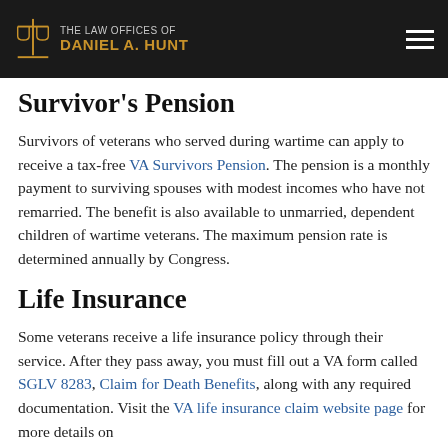The Law Offices of Daniel A. Hunt
Survivor's Pension
Survivors of veterans who served during wartime can apply to receive a tax-free VA Survivors Pension. The pension is a monthly payment to surviving spouses with modest incomes who have not remarried. The benefit is also available to unmarried, dependent children of wartime veterans. The maximum pension rate is determined annually by Congress.
Life Insurance
Some veterans receive a life insurance policy through their service. After they pass away, you must fill out a VA form called SGLV 8283, Claim for Death Benefits, along with any required documentation. Visit the VA life insurance claim website page for more details on